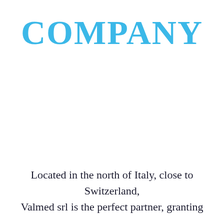COMPANY
Located in the north of Italy, close to Switzerland, Valmed srl is the perfect partner, granting